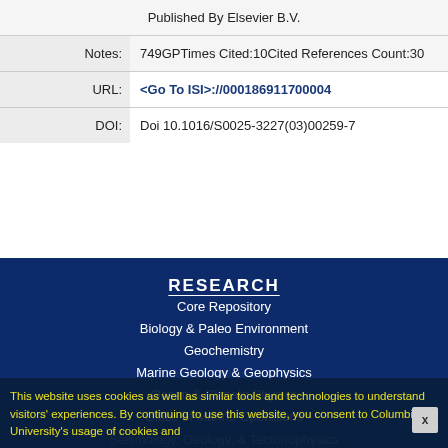| Published By Elsevier B.V. |
| Notes: | 749GPTimes Cited:10Cited References Count:30 |
| URL: | <Go To ISI>://000186911700004 |
| DOI: | Doi 10.1016/S0025-3227(03)00259-7 |
RESEARCH
Core Repository
Biology & Paleo Environment
Geochemistry
Marine Geology & Geophysics
Ocean & Climate Physics
Office of Marine Operations
Seismology, Geology, & Tectonophysics
Publications Database
Publications Procedures
This website uses cookies as well as similar tools and technologies to understand visitors' experiences. By continuing to use this website, you consent to Columbia University's usage of cookies and